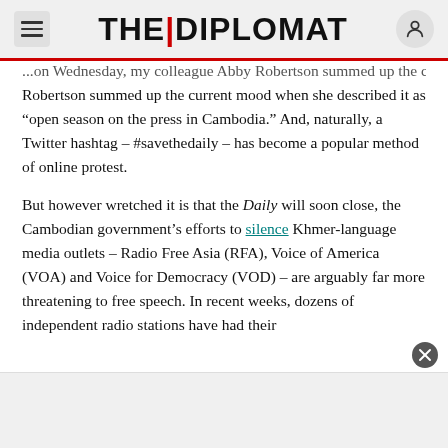THE|DIPLOMAT
Robertson summed up the current mood when she described it as “open season on the press in Cambodia.” And, naturally, a Twitter hashtag – #savethedaily – has become a popular method of online protest.
But however wretched it is that the Daily will soon close, the Cambodian government’s efforts to silence Khmer-language media outlets – Radio Free Asia (RFA), Voice of America (VOA) and Voice for Democracy (VOD) – are arguably far more threatening to free speech. In recent weeks, dozens of independent radio stations have had their